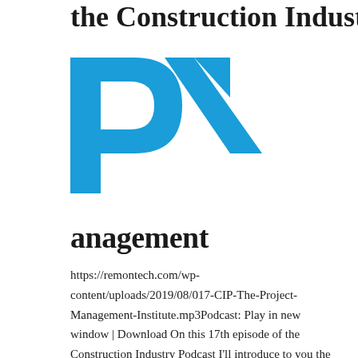the Construction Industry
[Figure (logo): PMI Project Management Institute logo — large blue stylized 'P' and angular chevron/slash mark in blue]
anagement
https://remontech.com/wp-content/uploads/2019/08/017-CIP-The-Project-Management-Institute.mp3Podcast: Play in new window | Download On this 17th episode of the Construction Industry Podcast I'll introduce to you the Project Management Institute and the Project Management Professional (PMP) certification. As you may know, I'm a member of the PMI and also have the PMP certification.  I'm a fan of the PMI